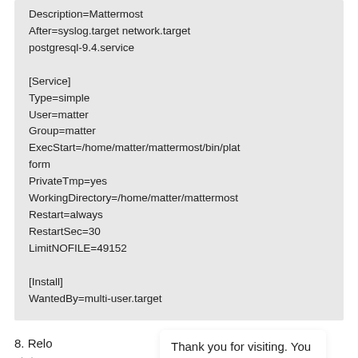Description=Mattermost
After=syslog.target network.target postgresql-9.4.service

[Service]
Type=simple
User=matter
Group=matter
ExecStart=/home/matter/mattermost/bin/platform
PrivateTmp=yes
WorkingDirectory=/home/matter/mattermost
Restart=always
RestartSec=30
LimitNOFILE=49152

[Install]
WantedBy=multi-user.target
8. Relo... eck status...
Thank you for visiting. You can now buy me a coffee!